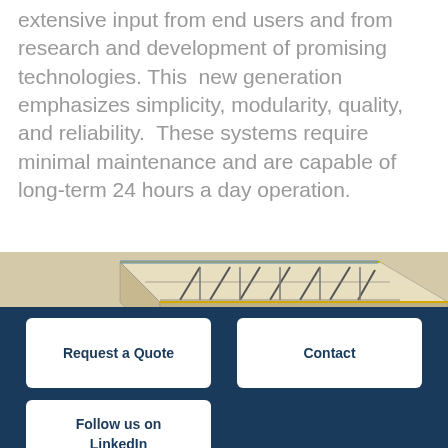extensive input from end users and from research and development of promising technologies. This new generation emphasizes simplicity, modularity, quality, and reliability. These systems require minimal maintenance and are capable of long-term 24 hours a day operation.
[Figure (illustration): 3D engineering diagram of a structural steel frame assembly showing diagonal bracing members in an isometric view]
Request a Quote
Contact
Follow us on LinkedIn